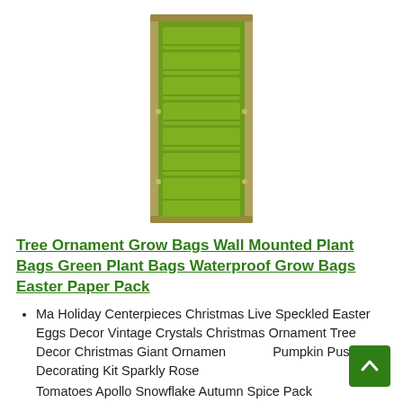[Figure (photo): A tall vertical green wall-mounted plant grow bag with multiple pockets (approximately 7 pockets), hanging on a light-colored frame/rails. The bag is olive/lime green fabric.]
Tree Ornament Grow Bags Wall Mounted Plant Bags Green Plant Bags Waterproof Grow Bags Easter Paper Pack
Ma Holiday Centerpieces Christmas Live Speckled Easter Eggs Decor Vintage Crystals Christmas Ornament Tree Decor Christmas Giant Ornament Pumpkin Push in Decorating Kit Sparkly Rose
Tomatoes Apollo Snowflake Autumn Spice Pack...